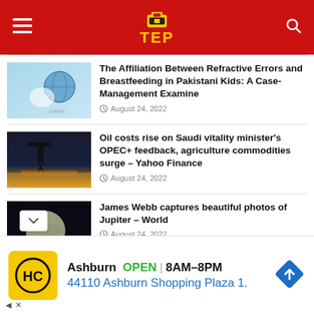TEP
[Figure (screenshot): Thumbnail image of hands holding a globe, medical/science theme, Cureus journal branding]
The Affiliation Between Refractive Errors and Breastfeeding in Pakistani Kids: A Case-Management Examine
August 24, 2022
[Figure (photo): Silhouette of oil pump jack at sunset]
Oil costs rise on Saudi vitality minister's OPEC+ feedback, agriculture commodities surge – Yahoo Finance
August 24, 2022
[Figure (photo): James Webb telescope image of Jupiter - dark background with planet]
James Webb captures beautiful photos of Jupiter – World
August 24, 2022
[Figure (screenshot): Advertisement: HC logo, Ashburn OPEN 8AM-8PM, 44110 Ashburn Shopping Plaza 1.]